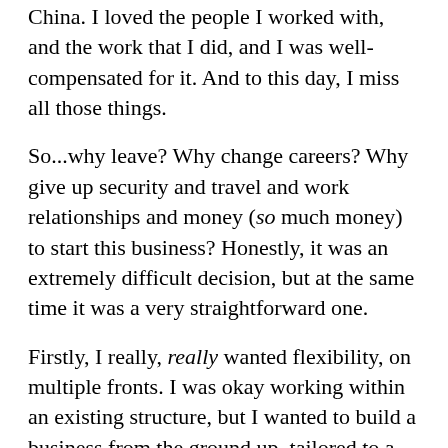China. I loved the people I worked with, and the work that I did, and I was well-compensated for it. And to this day, I miss all those things.
So...why leave? Why change careers? Why give up security and travel and work relationships and money (so much money) to start this business? Honestly, it was an extremely difficult decision, but at the same time it was a very straightforward one.
Firstly, I really, really wanted flexibility, on multiple fronts. I was okay working within an existing structure, but I wanted to build a business from the ground up, tailored to a very particular vision. I wanted to